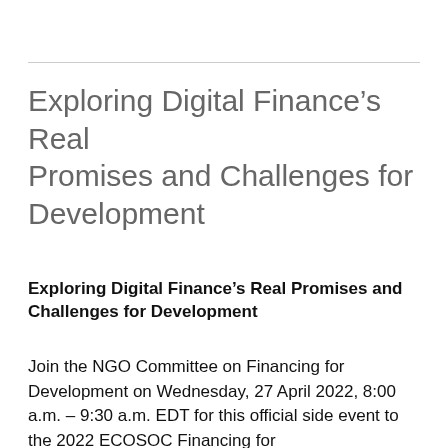Exploring Digital Finance's Real Promises and Challenges for Development
Exploring Digital Finance's Real Promises and Challenges for Development
Join the NGO Committee on Financing for Development on Wednesday, 27 April 2022, 8:00 a.m. – 9:30 a.m. EDT for this official side event to the 2022 ECOSOC Financing for